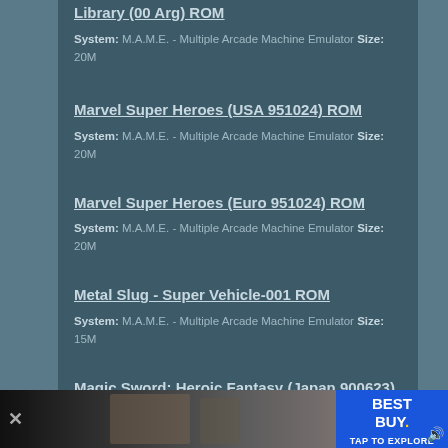Library (00 Arg) ROM — System: M.A.M.E. - Multiple Arcade Machine Emulator Size: 20M
Marvel Super Heroes (USA 951024) ROM — System: M.A.M.E. - Multiple Arcade Machine Emulator Size: 20M
Marvel Super Heroes (Euro 951024) ROM — System: M.A.M.E. - Multiple Arcade Machine Emulator Size: 20M
Metal Slug - Super Vehicle-001 ROM — System: M.A.M.E. - Multiple Arcade Machine Emulator Size: 15M
Magic Sword: Heroic Fantasy (Japan 900623) ROM — System: M.A.M.E. - Multiple Arcade Machine Emulator Size: 2.6M
Martial Champion (ver EAB) ROM — System: M.A.M.E. - Multiple Arcade Machine Emulator Size: 7.2M
[Figure (screenshot): Best Buy advertisement banner at the bottom of the page with TAP TO EXPLORE text and a video thumbnail showing silhouetted people]